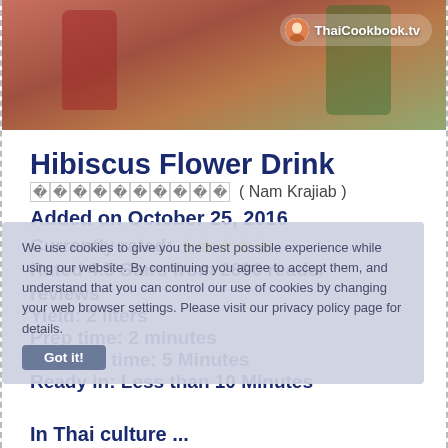[Figure (photo): Top portion of a Thai drink photo with ThaiCookbook.tv watermark logo overlay]
Hibiscus Flower Drink
กระเจี๊ยบ ( Nam Krajiab )
Added on October 25, 2016
Currently rated: ★★★★★
Rated 4.5 Stars from 2860 reader reviews
Yield: 2 liters
Prep time: 2 minutes
Cooking time: 5 Minutes
Ready in: Less than 10 Minutes
We use cookies to give you the best possible experience while using our website. By continuing you agree to accept them, and understand that you can control our use of cookies by changing your web browser settings. Please visit our privacy policy page for details.
Got it!
In Thai culture ...